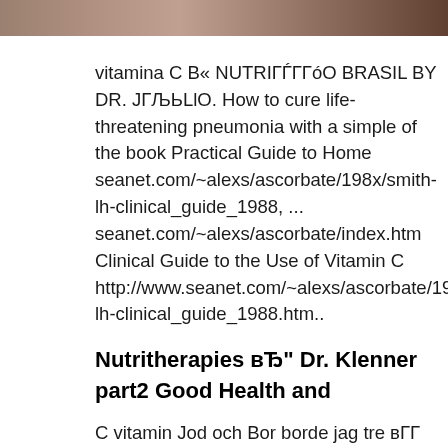[Figure (photo): Partial photo of an animal or indoor scene, cropped at top of page]
vitamina C B« NUTRIГЃГГóO BRASIL BY DR. ЈГЉЬLlO. How to cure life-threatening pneumonia with a simple of the book Practical Guide to Home seanet.com/~alexs/ascorbate/198x/smith-lh-clinical_guide_1988, ... seanet.com/~alexs/ascorbate/index.htm Clinical Guide to the Use of Vitamin C http://www.seanet.com/~alexs/ascorbate/198x/smith-lh-clinical_guide_1988.htm..
Nutritherapies вЂ" Dr. Klenner part2 Good Health and
C vitamin Jod och Bor borde jag tre вГГ